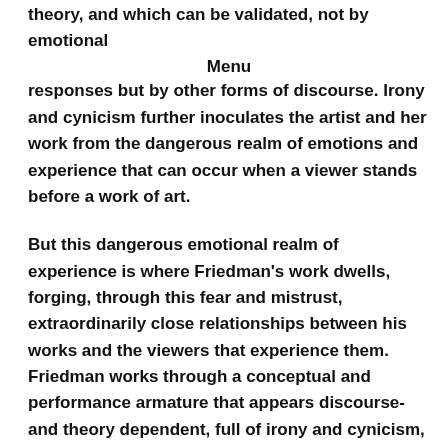Menu
theory, and which can be validated, not by emotional responses but by other forms of discourse. Irony and cynicism further inoculates the artist and her work from the dangerous realm of emotions and experience that can occur when a viewer stands before a work of art.
But this dangerous emotional realm of experience is where Friedman's work dwells, forging, through this fear and mistrust, extraordinarily close relationships between his works and the viewers that experience them. Friedman works through a conceptual and performance armature that appears discourse-and theory dependent, full of irony and cynicism, but it gradually unfolds an emotional response that is sincere, honest, and, something even rarer than authentic in the art world: generous.